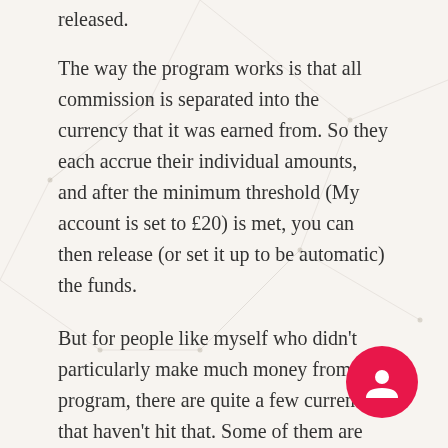released.
The way the program works is that all commission is separated into the currency that it was earned from. So they each accrue their individual amounts, and after the minimum threshold (My account is set to £20) is met, you can then release (or set it up to be automatic) the funds.
But for people like myself who didn't particularly make much money from the program, there are quite a few currencies that haven't hit that. Some of them are nearly at the mark, but I wasn't sure how Apple would deal with this. I didn't like the idea of having earnings not paid simply because they didn't hit the minimum amount, as the ability to earn more to boost the number is being removed, for apps at least.
However, the Affiliate Program team got back to me and